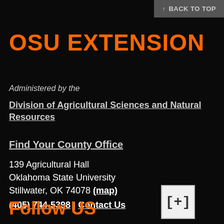↑ BACK TO TOP
OSU EXTENSION
Administered by the
Division of Agricultural Sciences and Natural Resources
Find Your County Office
139 Agricultural Hall
Oklahoma State University
Stillwater, OK 74078 (map)
(405) 744-5398 | Contact Us
Follow US
[Figure (other): Square button with bracket-plus symbol [+]]